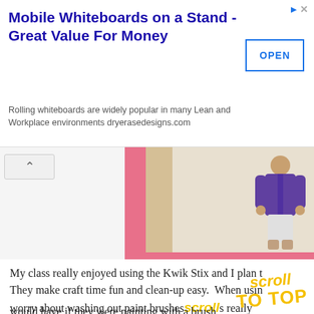[Figure (screenshot): Advertisement banner for Mobile Whiteboards on a Stand with OPEN button]
Mobile Whiteboards on a Stand - Great Value For Money
Rolling whiteboards are widely popular in many Lean and Workplace environments dryerasedesigns.com
[Figure (photo): Pink painted picture frame with heart decorations and a child in a purple jacket standing in the background]
My class really enjoyed using the Kwik Stix and I plan t... They make craft time fun and clean-up easy. When usin... worry about washing out paint brushes... which really... have a sink. I also noticed that the kids... r... paint... would have if they were painting with a brush.